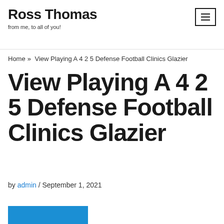Ross Thomas
from me, to all of you!
Home » View Playing A 4 2 5 Defense Football Clinics Glazier
View Playing A 4 2 5 Defense Football Clinics Glazier
by admin / September 1, 2021
[Figure (other): Blue bar at bottom of page, partial image]